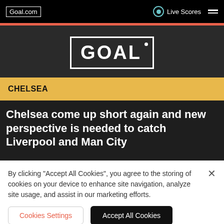Goal.com | Live Scores
[Figure (logo): GOAL logo in white text with bracket-style border on dark background]
CHELSEA
Chelsea come up short again and new perspective is needed to catch Liverpool and Man City
By clicking "Accept All Cookies", you agree to the storing of cookies on your device to enhance site navigation, analyze site usage, and assist in our marketing efforts.